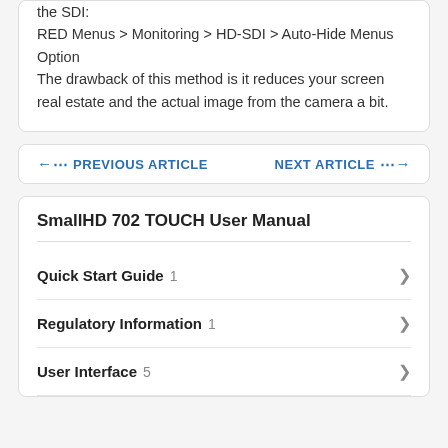the SDI:
RED Menus > Monitoring > HD-SDI > Auto-Hide Menus Option
The drawback of this method is it reduces your screen real estate and the actual image from the camera a bit.
←··· PREVIOUS ARTICLE    NEXT ARTICLE ···→
SmallHD 702 TOUCH User Manual
Quick Start Guide 1
Regulatory Information 1
User Interface 5